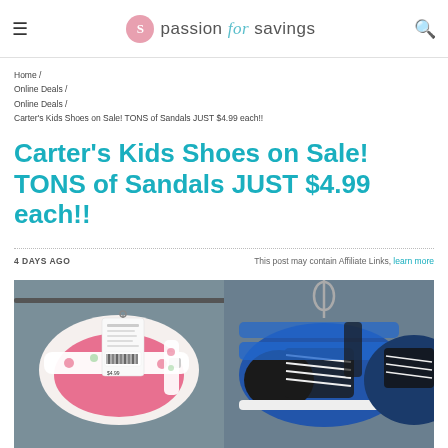passion for savings (logo with hamburger menu and search icon)
Home / Online Deals / Online Deals / Carter's Kids Shoes on Sale! TONS of Sandals JUST $4.99 each!!
Carter's Kids Shoes on Sale! TONS of Sandals JUST $4.99 each!!
4 DAYS AGO   This post may contain Affiliate Links, learn more
[Figure (photo): Photo of Carter's kids sandals and sneakers hanging on a store rack. Left side shows pink floral girl's sandals with a price tag. Right side shows blue and black boy's sneakers/sandals.]